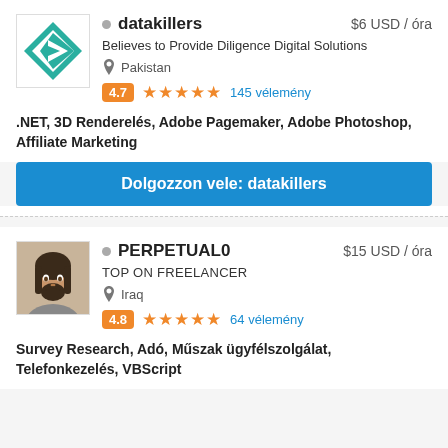[Figure (logo): datakillers company logo - teal diamond with white arrow/e symbol]
datakillers
$6 USD / óra
Believes to Provide Diligence Digital Solutions
Pakistan
4.7  ★★★★★  145 vélemény
.NET, 3D Renderelés, Adobe Pagemaker, Adobe Photoshop, Affiliate Marketing
Dolgozzon vele: datakillers
[Figure (photo): Profile photo of a man with beard and long hair]
PERPETUAL0
$15 USD / óra
TOP ON FREELANCER
Iraq
4.8  ★★★★★  64 vélemény
Survey Research, Adó, Műszak ügyfélszolgálat, Telefonkezelés, VBScript